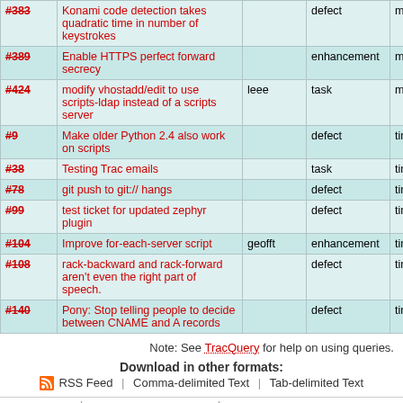| # | Summary | Owner | Type | Priority |
| --- | --- | --- | --- | --- |
| #383 | Konami code detection takes quadratic time in number of keystrokes |  | defect | minor |
| #389 | Enable HTTPS perfect forward secrecy |  | enhancement | minor |
| #424 | modify vhostadd/edit to use scripts-ldap instead of a scripts server | leee | task | minor |
| #9 | Make older Python 2.4 also work on scripts |  | defect | tiny |
| #38 | Testing Trac emails |  | task | tiny |
| #78 | git push to git:// hangs |  | defect | tiny |
| #99 | test ticket for updated zephyr plugin |  | defect | tiny |
| #104 | Improve for-each-server script | geofft | enhancement | tiny |
| #108 | rack-backward and rack-forward aren't even the right part of speech. |  | defect | tiny |
| #140 | Pony: Stop telling people to decide between CNAME and A records |  | defect | tiny |
Note: See TracQuery for help on using queries.
Download in other formats:
RSS Feed | Comma-delimited Text | Tab-delimited Text
Powered by Trac 1.0.2 | By Edgewall Software | Visit the Trac open source project at http://trac.edgewall.org/